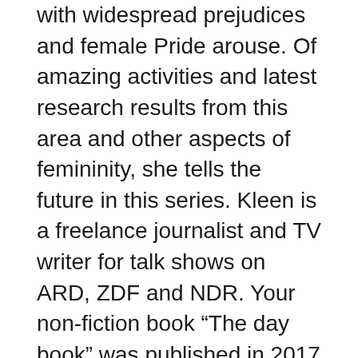with widespread prejudices and female Pride arouse. Of amazing activities and latest research results from this area and other aspects of femininity, she tells the future in this series. Kleen is a freelance journalist and TV writer for talk shows on ARD, ZDF and NDR. Your non-fiction book “The day book” was published in 2017 in the Heyne publishing house.
A less uptight view on the Vulva and Vagina, is missing. The idea is this: The looser and the more we talk about our “down there” and the more images we see, the more beautiful we find the Vulva and Vagina. And the more relaxed our sexuality is.
true But the also? A measure Albuch-book with Vagina-Mandalas and a Vulva-Watching Seminar to inner and outer liberation lead? Or the confrontation with a hitherto relatively undiscovered part of the body only means that there are to